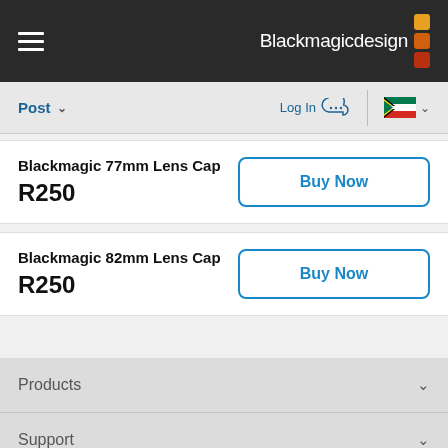Blackmagicdesign
Post
Log In
Blackmagic 77mm Lens Cap
R250
Buy Now
Blackmagic 82mm Lens Cap
R250
Buy Now
Products
Support